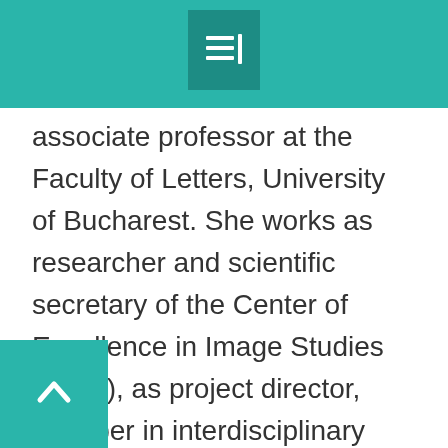[Figure (logo): Teal header bar with a menu/list icon in a darker teal box centered at top]
associate professor at the Faculty of Letters, University of Bucharest. She works as researcher and scientific secretary of the Center of Excellence in Image Studies (CESI), as project director, member in interdisciplinary research teams, and POSDRU projects manager. She is a member of the Romanian School in Rome, Accademia di Romania, and had a series of research internships carried out in Italy, France, Czech Republic and Slovakia. She published authored books, studies and research papers in the field of philology (literary studies) and the history and theory of image and imagination, and coordinated
[Figure (other): Teal back-to-top button with upward chevron arrow, bottom-left corner]